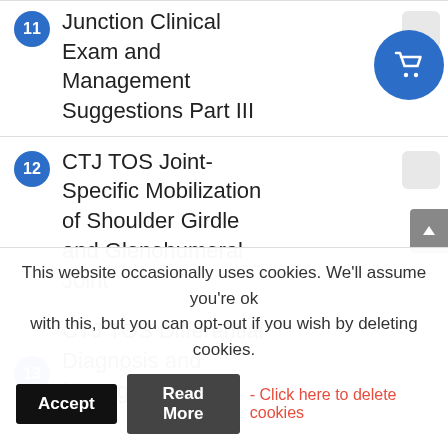11 Junction Clinical Exam and Management Suggestions Part III
12 CTJ TOS Joint-Specific Mobilization of Shoulder Girdle and Glenohumeral Joint
13 CTJ TOS Differential Diagnosis and Management
This website occasionally uses cookies. We'll assume you're ok with this, but you can opt-out if you wish by deleting cookies.